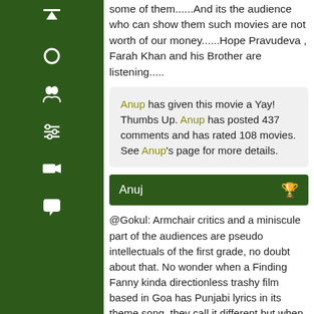some of them......And its the audience who can show them such movies are not worth of our money......Hope Pravudeva , Farah Khan and his Brother are listening.....
Anup has given this movie a Yay! Thumbs Up. Anup has posted 437 comments and has rated 108 movies. See Anup's page for more details.
Anuj
@Gokul: Armchair critics and a miniscule part of the audiences are pseudo intellectuals of the first grade, no doubt about that. No wonder when a Finding Fanny kinda directionless trashy film based in Goa has Punjabi lyrics in its theme song, they call it different but when a serving military officer single handedly demolishes sleeper cells in Bombay city or a cop hunts down criminal god-men, they call it "masala & stereo-typical". Films like Finding Fanny & Haider